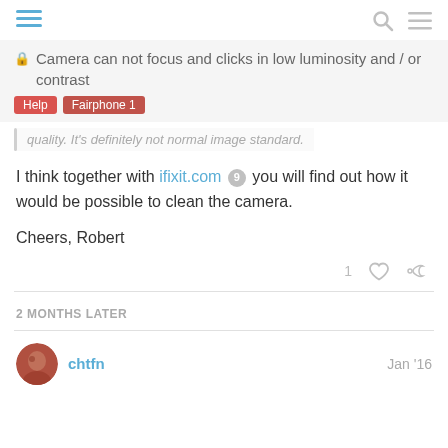Camera can not focus and clicks in low luminosity and / or contrast — Help, Fairphone 1
quality. It's definitely not normal image standard.
I think together with ifixit.com 9 you will find out how it would be possible to clean the camera.

Cheers, Robert
2 MONTHS LATER
chtfn   Jan '16